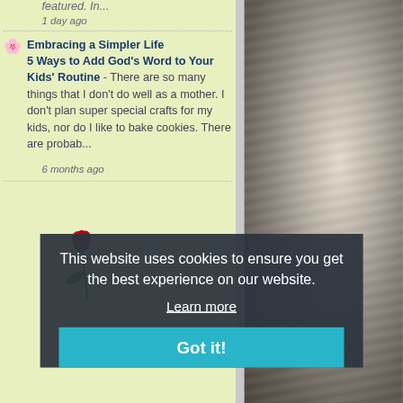featured. In...
1 day ago
Embracing a Simpler Life 5 Ways to Add God’s Word to Your Kids’ Routine - There are so many things that I don’t do well as a mother. I don’t plan super special crafts for my kids, nor do I like to bake cookies. There are probab...
6 months ago
[Figure (illustration): A red rose with stem and leaves, partially visible, decorative element on green background]
[Figure (photo): Black and white photograph of a person or figure near a wall or structure]
This website uses cookies to ensure you get the best experience on our website.
Learn more
Got it!